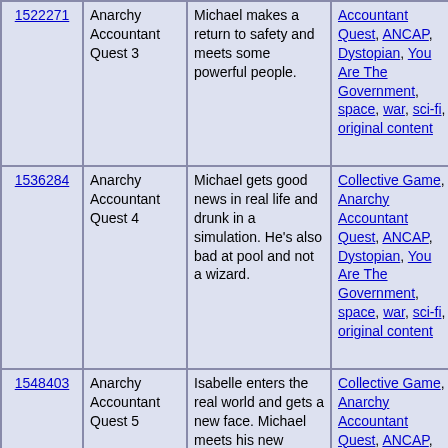| ID | Title | Description | Tags | Date | # |  |
| --- | --- | --- | --- | --- | --- | --- |
| 1522271 | Anarchy Accountant Quest 3 | Michael makes a return to safety and meets some powerful people. | Accountant Quest, ANCAP, Dystopian, You Are The Government, space, war, sci-fi, original content | 2017-06-04 | 1 |  |
| 1536284 | Anarchy Accountant Quest 4 | Michael gets good news in real life and drunk in a simulation. He's also bad at pool and not a wizard. | Collective Game, Anarchy Accountant Quest, ANCAP, Dystopian, You Are The Government, space, war, sci-fi, original content | 2017-06-07 | 1 |  |
| 1548403 | Anarchy Accountant Quest 5 | Isabelle enters the real world and gets a new face. Michael meets his new assistant. The search for militia leaders begins. | Collective Game, Anarchy Accountant Quest, ANCAP, Dystopian, You Are The Government, space, war, sci-fi, original | 2017-06-11 | 1 |  |